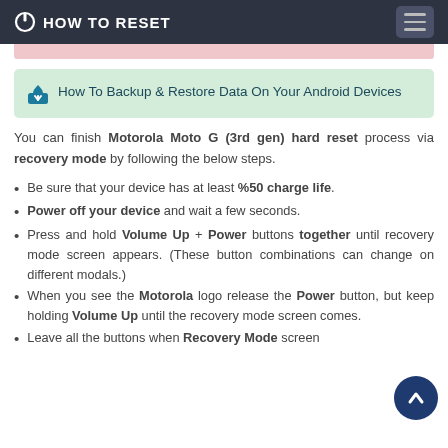HOW TO RESET
How To Backup & Restore Data On Your Android Devices
You can finish Motorola Moto G (3rd gen) hard reset process via recovery mode by following the below steps.
Be sure that your device has at least %50 charge life.
Power off your device and wait a few seconds.
Press and hold Volume Up + Power buttons together until recovery mode screen appears. (These button combinations can change on different modals.)
When you see the Motorola logo release the Power button, but keep holding Volume Up until the recovery mode screen comes.
Leave all the buttons when Recovery Mode screen